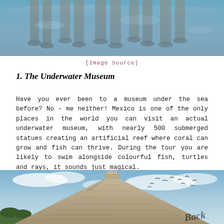[Figure (photo): Top portion of image showing upside-down legs/feet of people reflected in water, with blue-grey underwater tones]
[Image Source]
1. The Underwater Museum
Have you ever been to a museum under the sea before? No – me neither! Mexico is one of the only places in the world you can visit an actual underwater museum, with nearly 500 submerged statues creating an artificial reef where coral can grow and fish can thrive. During the tour you are likely to swim alongside colourful fish, turtles and rays, it sounds just magical.
[Figure (photo): Photo of a Mayan pyramid (Chichen Itza) against a partly cloudy blue sky, with birds flying overhead and a cursive watermark 'Back' in the bottom right corner]